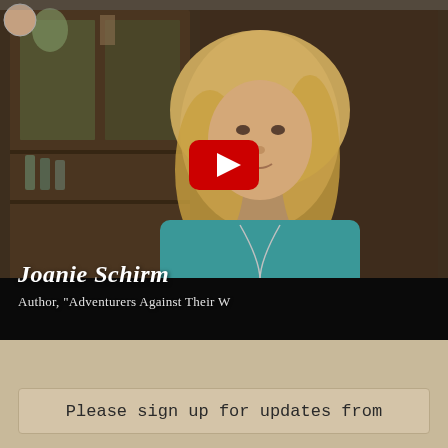[Figure (screenshot): YouTube video thumbnail showing a woman named Joanie Schirm, author of 'Adventurers Against Their W...', seated in front of a wooden cabinet with decorative items. A YouTube play button is overlaid in the center. Name and title text appear at bottom of the video frame.]
Please sign up for updates from